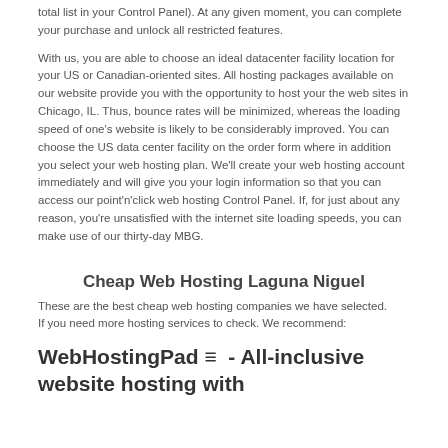total list in your Control Panel). At any given moment, you can complete your purchase and unlock all restricted features.
With us, you are able to choose an ideal datacenter facility location for your US or Canadian-oriented sites. All hosting packages available on our website provide you with the opportunity to host your the web sites in Chicago, IL. Thus, bounce rates will be minimized, whereas the loading speed of one’s website is likely to be considerably improved. You can choose the US data center facility on the order form where in addition you select your web hosting plan. We’ll create your web hosting account immediately and will give you your login information so that you can access our point’n’click web hosting Control Panel. If, for just about any reason, you’re unsatisfied with the internet site loading speeds, you can make use of our thirty-day MBG.
Cheap Web Hosting Laguna Niguel
These are the best cheap web hosting companies we have selected.
If you need more hosting services to check. We recommend:
WebHostingPad ≡  - All-inclusive website hosting with